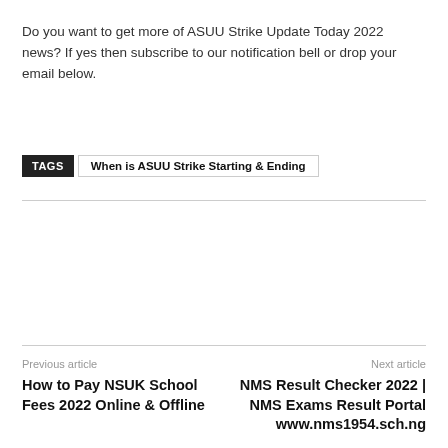Do you want to get more of ASUU Strike Update Today 2022 news? If yes then subscribe to our notification bell or drop your email below.
TAGS   When is ASUU Strike Starting & Ending
Previous article
How to Pay NSUK School Fees 2022 Online & Offline
Next article
NMS Result Checker 2022 | NMS Exams Result Portal www.nms1954.sch.ng